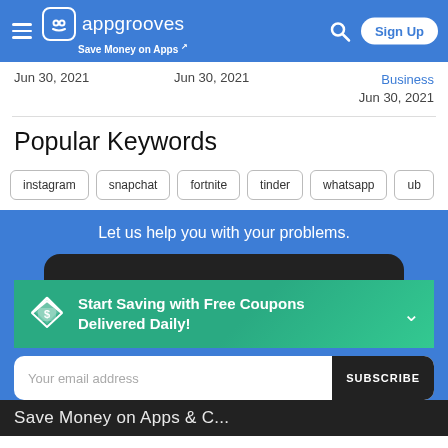appgrooves — Save Money on Apps | Sign Up
Jun 30, 2021   Jun 30, 2021   Business Jun 30, 2021
Popular Keywords
instagram
snapchat
fortnite
tinder
whatsapp
ub
Let us help you with your problems.
Start Saving with Free Coupons Delivered Daily!
Your email address   SUBSCRIBE
Save Money on Apps & C...